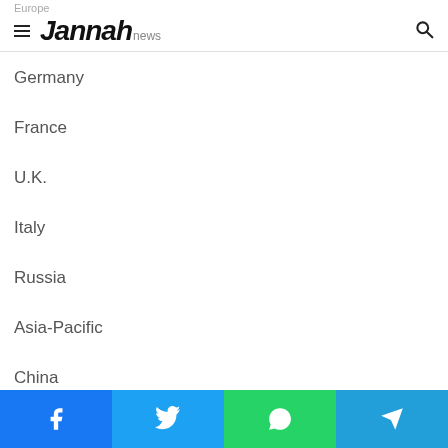Europe — Jannah news
Germany
France
U.K.
Italy
Russia
Asia-Pacific
China
Facebook | Twitter | WhatsApp | Telegram